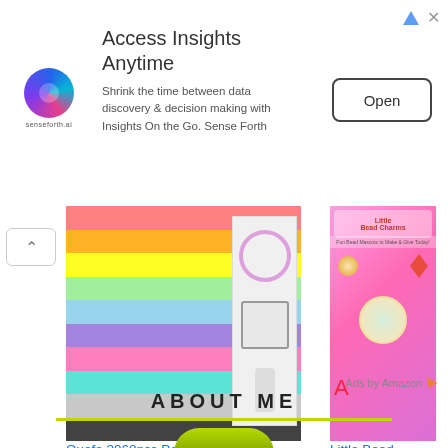[Figure (screenshot): Ad banner for senseforth.ai with logo, title 'Access Insights Anytime', body text, and Open button]
[Figure (photo): Quefe 3960pcs Pony Beads Craft Bead Set product image showing colorful beads in compartments]
Quefe 3960pcs Pony Beads Craft Bead Set, 2400pcs Rai...
$23.99  $25.99  prime  (209)
[Figure (photo): Little Bead Charms book cover - pink background with bead mascot animals]
Little Bead Charms: Fun Bead Mascots To Make & Give T...
$15.99  prime  (12)
Ads by Amazon
ABOUT ME